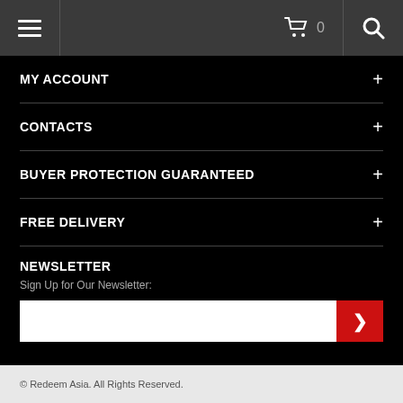[Figure (screenshot): Mobile website navigation bar with hamburger menu icon on left, shopping cart with count '0' in center, and search icon on right. Dark gray background.]
MY ACCOUNT +
CONTACTS +
BUYER PROTECTION GUARANTEED +
FREE DELIVERY +
NEWSLETTER
Sign Up for Our Newsletter:
© Redeem Asia. All Rights Reserved.